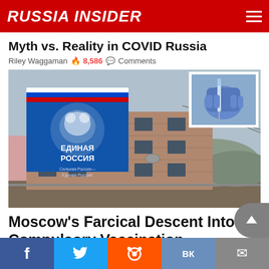RUSSIA INSIDER
Myth vs. Reality in COVID Russia
Riley Waggaman 🔥 8,586 💬 Comments
[Figure (photo): Photograph of a dilapidated Soviet-era building with a large blue United Russia (Единая Россия) party banner, with an inset image of a gloved hand holding a syringe]
Moscow's Farcical Descent Into Compulsory Vaccination
Riley Waggaman 🔥 3,850 💬 Comments